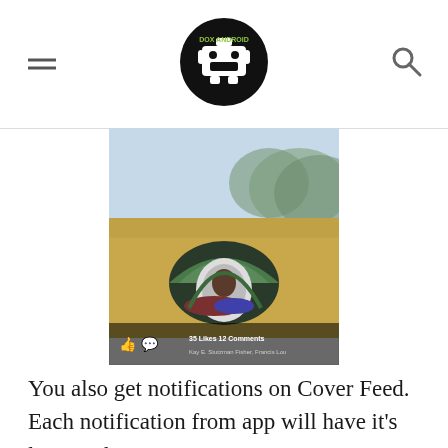DOX ANDROID logo with hamburger menu and search icon
[Figure (screenshot): Screenshot of a Facebook-style app showing a camping photo: a green dome tent in a dry grassy field with forested hills in the background. The post shows '35 Likes 12 Comments' and names 'Kay E. Stutzman Fisher, Francis Lou' with like and comment icons.]
You also get notifications on Cover Feed. Each notification from app will have it's logo with it